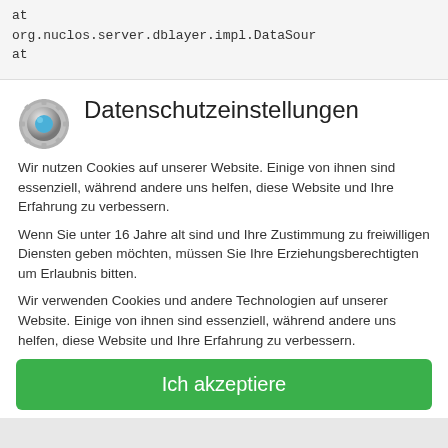at
org.nuclos.server.dblayer.impl.DataSour
at
[Figure (logo): Gray and blue spherical gear/cog icon logo]
Datenschutzeinstellungen
Wir nutzen Cookies auf unserer Website. Einige von ihnen sind essenziell, während andere uns helfen, diese Website und Ihre Erfahrung zu verbessern.
Wenn Sie unter 16 Jahre alt sind und Ihre Zustimmung zu freiwilligen Diensten geben möchten, müssen Sie Ihre Erziehungsberechtigten um Erlaubnis bitten.
Wir verwenden Cookies und andere Technologien auf unserer Website. Einige von ihnen sind essenziell, während andere uns helfen, diese Website und Ihre Erfahrung zu verbessern. Personenbezogene Daten können verarbeitet werden (z.B. IP-Adressen), z.B. für
Essenziell
Statistiken
Externe Medien
Ich akzeptiere